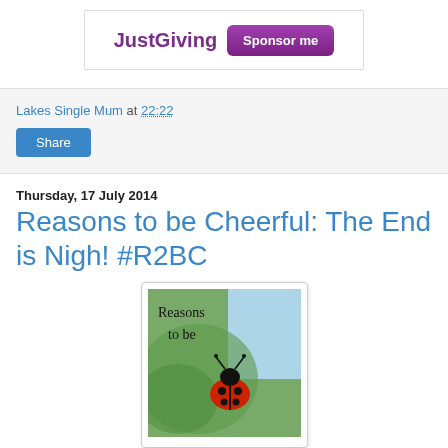[Figure (screenshot): JustGiving advertisement banner with purple logo text and 'Sponsor me' purple button]
Lakes Single Mum at 22:22
Share
Thursday, 17 July 2014
Reasons to be Cheerful: The End is Nigh! #R2BC
[Figure (photo): Photo of a ladybird/ladybug on a green leaf with text overlay reading 'Reasons to be' in handwritten style, blue sky background]